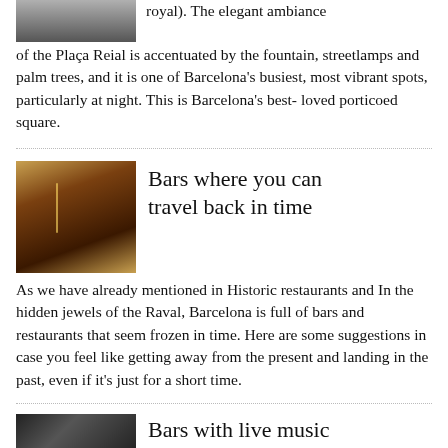[Figure (photo): Partial photo at top of page, appears to be people or architecture]
royal). The elegant ambiance of the Plaça Reial is accentuated by the fountain, streetlamps and palm trees, and it is one of Barcelona's busiest, most vibrant spots, particularly at night. This is Barcelona's best-loved porticoed square.
[Figure (photo): Bar scene with a martini glass and warm amber lighting]
Bars where you can travel back in time
As we have already mentioned in Historic restaurants and In the hidden jewels of the Raval, Barcelona is full of bars and restaurants that seem frozen in time. Here are some suggestions in case you feel like getting away from the present and landing in the past, even if it's just for a short time.
[Figure (photo): Dark photo at bottom, partially visible, likely a bar or music venue]
Bars with live music